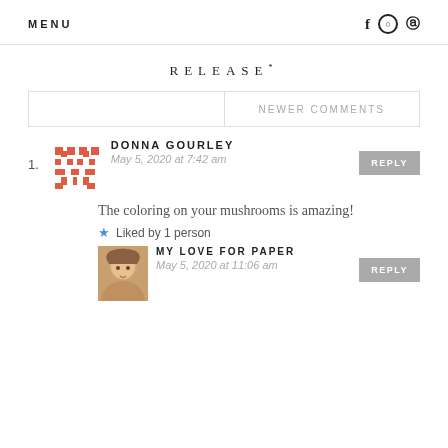MENU  f  ⊙  ⊕
RELEASE*
NEWER COMMENTS
1. DONNA GOURLEY
May 5, 2020 at 7:42 am
REPLY
The coloring on your mushrooms is amazing!
★ Liked by 1 person
MY LOVE FOR PAPER
May 5, 2020 at 11:06 am
REPLY